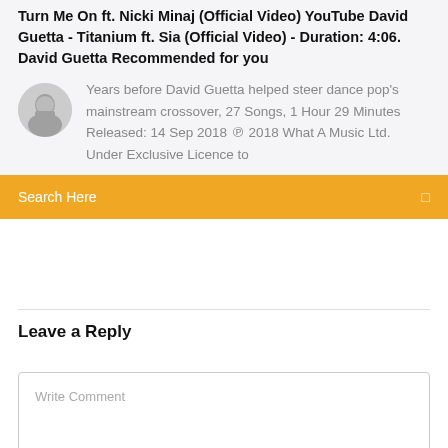Turn Me On ft. Nicki Minaj (Official Video) YouTube David Guetta - Titanium ft. Sia (Official Video) - Duration: 4:06. David Guetta Recommended for you
[Figure (photo): Circular avatar photo of a man]
Years before David Guetta helped steer dance pop's mainstream crossover, 27 Songs, 1 Hour 29 Minutes Released: 14 Sep 2018 ℗ 2018 What A Music Ltd. Under Exclusive Licence to
Search Here
Leave a Reply
Write Comment